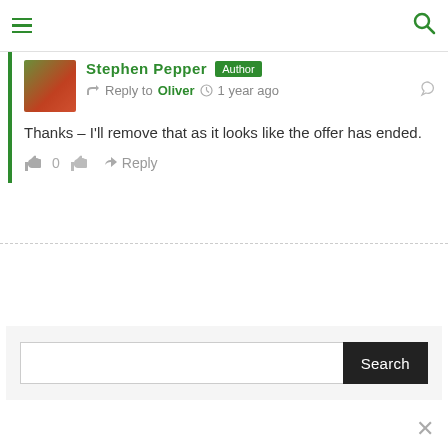Frequent Miler – Earn Miles Without Flying
Stephen Pepper Author
Reply to Oliver  1 year ago
Thanks – I'll remove that as it looks like the offer has ended.
0  Reply